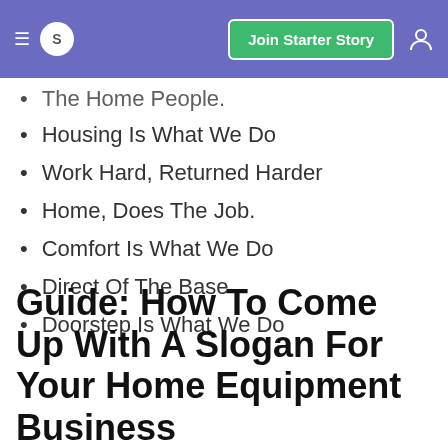S | Join Starter Story
The Home People.
Housing Is What We Do
Work Hard, Returned Harder
Home, Does The Job.
Comfort Is What We Do
Direct Of The Base
Doorstep Is What We Do
Guide: How To Come Up With A Slogan For Your Home Equipment Business